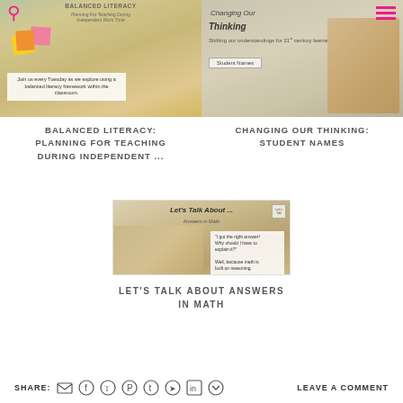[Figure (photo): Blog thumbnail: Balanced Literacy planning with colorful sticky notes and teacher]
[Figure (photo): Blog thumbnail: Changing Our Thinking - student names, woman thinking]
BALANCED LITERACY: PLANNING FOR TEACHING DURING INDEPENDENT ...
CHANGING OUR THINKING: STUDENT NAMES
[Figure (photo): Blog thumbnail: Let's Talk About Answers in Math - hand writing with quote about explaining math answers]
LET'S TALK ABOUT ANSWERS IN MATH
SHARE: [email] [facebook] [twitter] [pinterest] [tumblr] [whatsapp] [linkedin] [pocket]   LEAVE A COMMENT